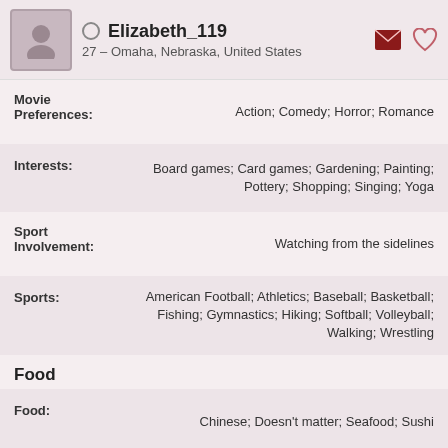Elizabeth_119 — 27 – Omaha, Nebraska, United States
Movie Preferences: Action; Comedy; Horror; Romance
Interests: Board games; Card games; Gardening; Painting; Pottery; Shopping; Singing; Yoga
Sport Involvement: Watching from the sidelines
Sports: American Football; Athletics; Baseball; Basketball; Fishing; Gymnastics; Hiking; Softball; Volleyball; Walking; Wrestling
Food
Food: Chinese; Doesn't matter; Seafood; Sushi
Go Out to Eat: I eat out a few times a month